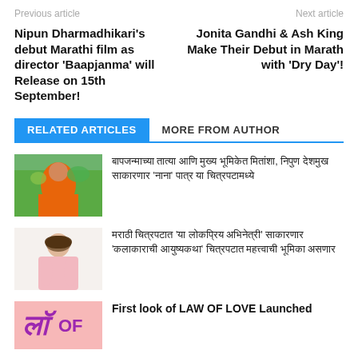Previous article | Next article
Nipun Dharmadhikari's debut Marathi film as director 'Baapjanma' will Release on 15th September!
Jonita Gandhi & Ash King Make Their Debut in Marath with 'Dry Day'!
RELATED ARTICLES | MORE FROM AUTHOR
[Figure (photo): Man in orange shirt outdoors with greenery]
[Marathi text article title 1]
[Figure (photo): Woman in pink top]
[Marathi text article title 2]
[Figure (photo): Pink background with Law of Love text logo]
First look of LAW OF LOVE Launched